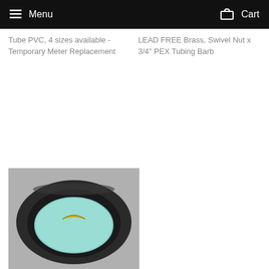Menu  Cart
Tube PVC, 4 sizes available - Temporary Meter Replacement
LEAD FREE Brass, Swivel Nut x 3/4" PEX Tubing Barb
[Figure (photo): Photo of a dark round bowl/container with a light blue foam pad inside and a small yellow crescent-shaped piece on top of the foam, viewed from above.]